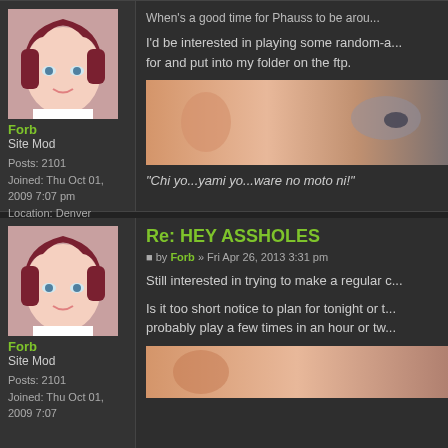[Figure (photo): Anime avatar of character with reddish-brown hair]
Forb
Site Mod
Posts: 2101
Joined: Thu Oct 01, 2009 7:07 pm
Location: Denver
When's a good time for Phauss to be arou...
I'd be interested in playing some random-a... for and put into my folder on the ftp.
[Figure (photo): Close-up photo of a person's face, ear and eye visible]
"Chi yo...yami yo...ware no moto ni!"
[Figure (photo): Anime avatar of character with reddish-brown hair (second post)]
Forb
Site Mod
Posts: 2101
Joined: Thu Oct 01, 2009 7:07
Re: HEY ASSHOLES
by Forb » Fri Apr 26, 2013 3:31 pm
Still interested in trying to make a regular c...
Is it too short notice to plan for tonight or t... probably play a few times in an hour or tw...
[Figure (photo): Close-up photo of a person's face (partial, bottom)]